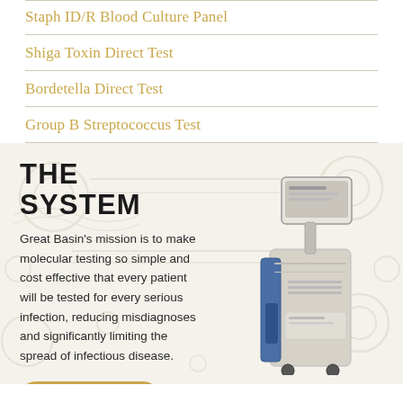Staph ID/R Blood Culture Panel
Shiga Toxin Direct Test
Bordetella Direct Test
Group B Streptococcus Test
THE SYSTEM
Great Basin's mission is to make molecular testing so simple and cost effective that every patient will be tested for every serious infection, reducing misdiagnoses and significantly limiting the spread of infectious disease.
[Figure (photo): Medical molecular testing device/instrument - a tall white and blue automated diagnostic machine with a touchscreen display on top]
LEARN MORE